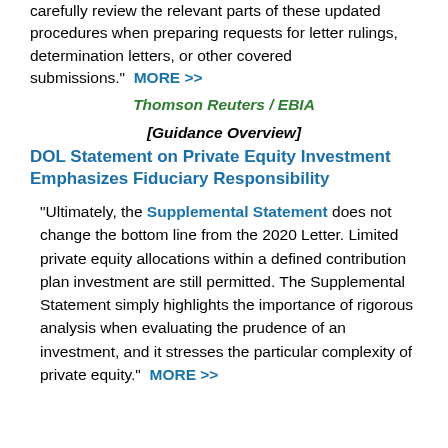carefully review the relevant parts of these updated procedures when preparing requests for letter rulings, determination letters, or other covered submissions."  MORE >>
Thomson Reuters / EBIA
[Guidance Overview]
DOL Statement on Private Equity Investment Emphasizes Fiduciary Responsibility
"Ultimately, the Supplemental Statement does not change the bottom line from the 2020 Letter. Limited private equity allocations within a defined contribution plan investment are still permitted. The Supplemental Statement simply highlights the importance of rigorous analysis when evaluating the prudence of an investment, and it stresses the particular complexity of private equity."  MORE >>